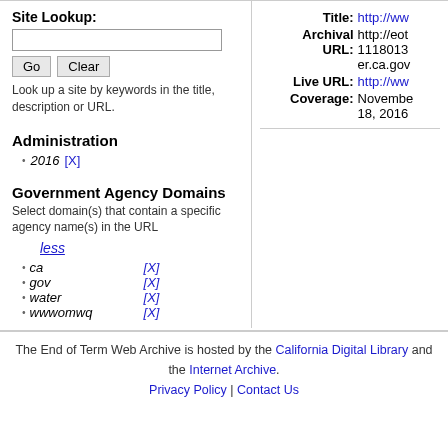Site Lookup:
Look up a site by keywords in the title, description or URL.
Administration
2016 [X]
Government Agency Domains
Select domain(s) that contain a specific agency name(s) in the URL
less
ca [X]
gov [X]
water [X]
wwwomwq [X]
Title: http://ww
Archival URL: http://eot1118013er.ca.gov
Live URL: http://ww
Coverage: November 18, 2016
The End of Term Web Archive is hosted by the California Digital Library and the Internet Archive. Privacy Policy | Contact Us